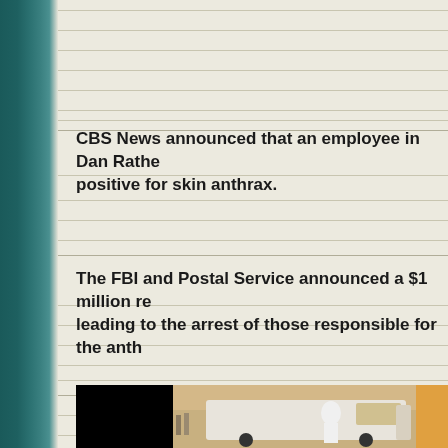CBS News announced that an employee in Dan Rather's office tested positive for skin anthrax.
The FBI and Postal Service announced a $1 million reward for information leading to the arrest of those responsible for the anthrax letters.
[Figure (photo): Partial photo at bottom of page showing a street scene with a van and a person in white near vehicles]